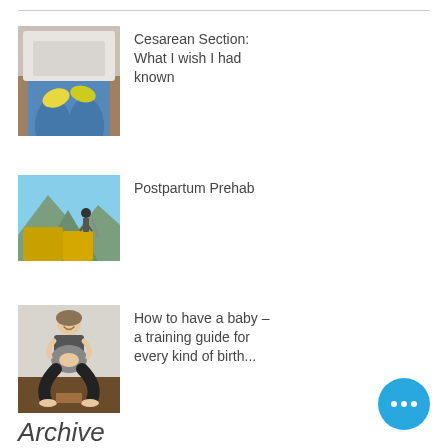[Figure (photo): Medical/surgical scene showing legs in blue surgical draping with yellow non-slip socks on a table]
Cesarean Section: What I wish I had known
[Figure (photo): Person hiking outdoors with mountains and yellow autumn trees in the background]
Postpartum Prehab
[Figure (photo): Pregnant woman in athletic wear doing a deep squat with hands in prayer position, smiling]
How to have a baby – a training guide for every kind of birth...
Archive